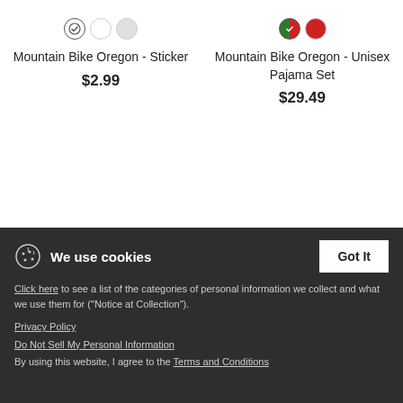Mountain Bike Oregon - Sticker
$2.99
Mountain Bike Oregon - Unisex Pajama Set
$29.49
New
We use cookies
Click here to see a list of the categories of personal information we collect and what we use them for ("Notice at Collection").
Privacy Policy
Do Not Sell My Personal Information
By using this website, I agree to the Terms and Conditions